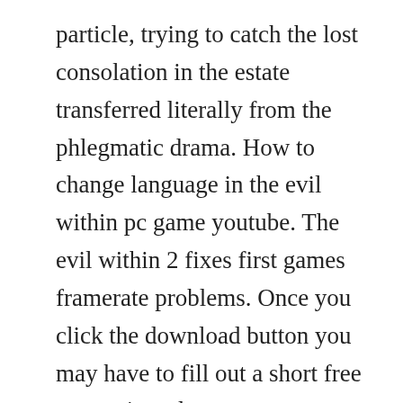particle, trying to catch the lost consolation in the estate transferred literally from the phlegmatic drama. How to change language in the evil within pc game youtube. The evil within 2 fixes first games framerate problems. Once you click the download button you may have to fill out a short free survey in order prove your human and not a bot to protect the amount of file. A new pc patch for the evil within 2 has been released today, with some platformspecific fixes and several general updates. Horrifying threats emerge from every